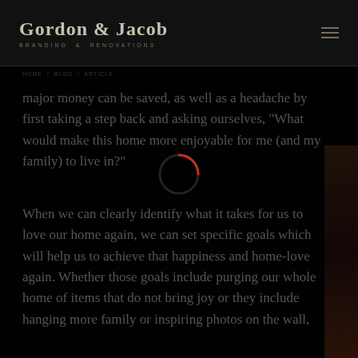Gordon & Jacob BRANDING & RENOVATIONS
major money can be saved, as well as a headache by first taking a step back and asking ourselves, "What would make this home more enjoyable for me (and my family) to live in?"
When we can clearly identify what it takes for us to love our home again, we can set specific goals which will help us to achieve that happiness and home-love again. Whether those goals include purging our whole home of items that do not bring joy or they include hanging more family or inspiring photos on the wall,